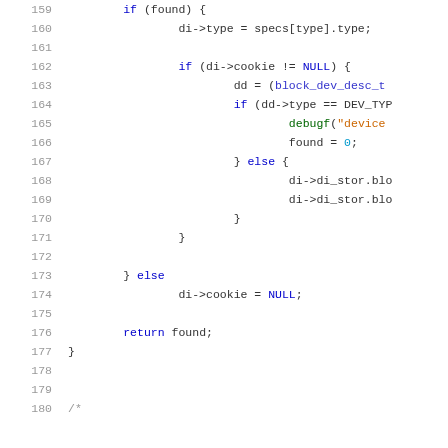[Figure (screenshot): Source code listing lines 159-180, C code with syntax highlighting showing if/else statements, cookie checks, device type conditionals, and return statement]